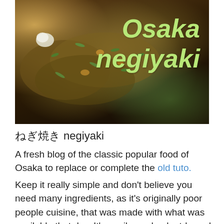[Figure (photo): Photo of Osaka negiyaki dish with green onions and toppings, with text overlay reading 'Osaka negiyaki' in light green italic bold font on dark brown background]
ねぎ焼き negiyaki
A fresh blog of the classic popular food of Osaka to replace or complete the old tuto.
Keep it really simple and don't believe you need many ingredients, as it's originally poor people cuisine, that was made with what was available that day. It's easily made plant-based.
Here is a typical list of variations of negiyaki you can order in shops around here :
牛すじ焼き　　gyusuji negiyaki (beef tendon)